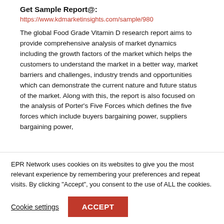Get Sample Report@:
https://www.kdmarketinsights.com/sample/980
The global Food Grade Vitamin D research report aims to provide comprehensive analysis of market dynamics including the growth factors of the market which helps the customers to understand the market in a better way, market barriers and challenges, industry trends and opportunities which can demonstrate the current nature and future status of the market. Along with this, the report is also focused on the analysis of Porter’s Five Forces which defines the five forces which include buyers bargaining power, suppliers bargaining power,
EPR Network uses cookies on its websites to give you the most relevant experience by remembering your preferences and repeat visits. By clicking “Accept”, you consent to the use of ALL the cookies.
Cookie settings
ACCEPT